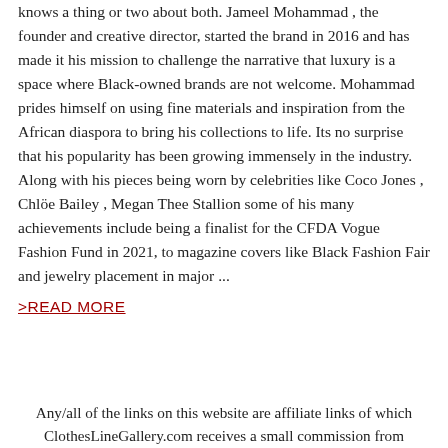knows a thing or two about both. Jameel Mohammad , the founder and creative director, started the brand in 2016 and has made it his mission to challenge the narrative that luxury is a space where Black-owned brands are not welcome. Mohammad prides himself on using fine materials and inspiration from the African diaspora to bring his collections to life. Its no surprise that his popularity has been growing immensely in the industry. Along with his pieces being worn by celebrities like Coco Jones , Chlöe Bailey , Megan Thee Stallion some of his many achievements include being a finalist for the CFDA Vogue Fashion Fund in 2021, to magazine covers like Black Fashion Fair and jewelry placement in major ...
>READ MORE
Any/all of the links on this website are affiliate links of which ClothesLineGallery.com receives a small commission from